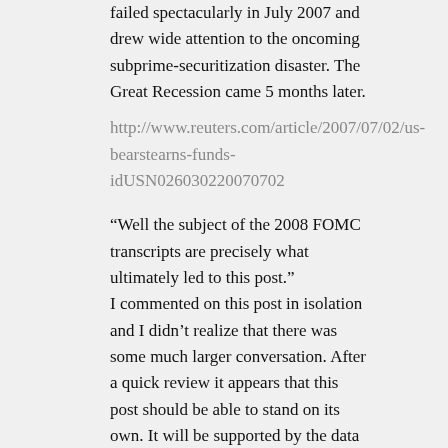failed spectacularly in July 2007 and drew wide attention to the oncoming subprime-securitization disaster. The Great Recession came 5 months later. http://www.reuters.com/article/2007/07/02/us-bearstearns-funds-idUSN026030220070702
“Well the subject of the 2008 FOMC transcripts are precisely what ultimately led to this post.” I commented on this post in isolation and I didn’t realize that there was some much larger conversation. After a quick review it appears that this post should be able to stand on its own. It will be supported by the data or not supported.
Mark A. Sadowski says: March 13, 2014 at 5:58 pm